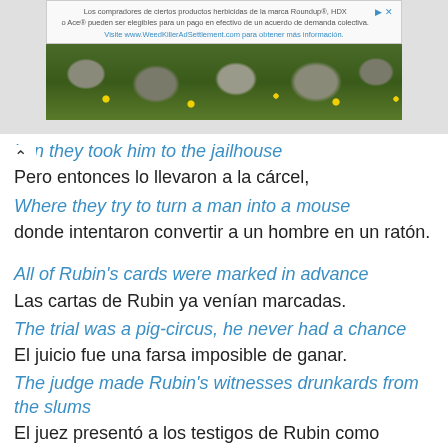[Figure (other): Advertisement banner for WeedKillerAdSettlement.com with text about Roundup and Ace herbicide products and a landscape photo of stone pavers with yellow flowers and green plants.]
hen they took him to the jailhouse
Pero entonces lo llevaron a la cárcel,
Where they try to turn a man into a mouse
donde intentaron convertir a un hombre en un ratón.
All of Rubin's cards were marked in advance
Las cartas de Rubin ya venían marcadas.
The trial was a pig-circus, he never had a chance
El juicio fue una farsa imposible de ganar.
The judge made Rubin's witnesses drunkards from the slums
El juez presentó a los testigos de Rubin como borrachos de los barrios bajos
To the white folks who watched he was a revolutionary bum
a los blancos que lo veían como un vagabundo